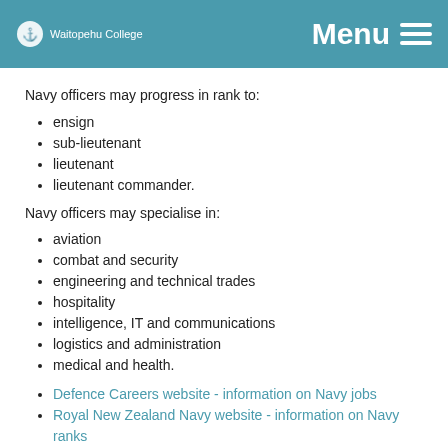Waitopehu College  Menu
Navy officers may progress in rank to:
ensign
sub-lieutenant
lieutenant
lieutenant commander.
Navy officers may specialise in:
aviation
combat and security
engineering and technical trades
hospitality
intelligence, IT and communications
logistics and administration
medical and health.
Defence Careers website - information on Navy jobs
Royal New Zealand Navy website - information on Navy ranks